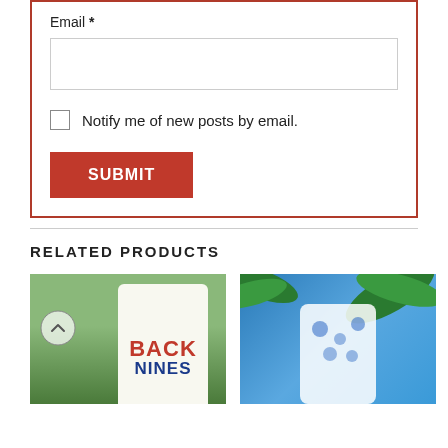Email *
Notify me of new posts by email.
SUBMIT
RELATED PRODUCTS
[Figure (photo): Product photo of a white Hawaiian shirt with 'BACK NINES' text in red and blue, against a green landscape background, with a circular arrow button on the left]
[Figure (photo): Product photo of a blue Hawaiian shirt with floral pattern, with palm trees in the background]